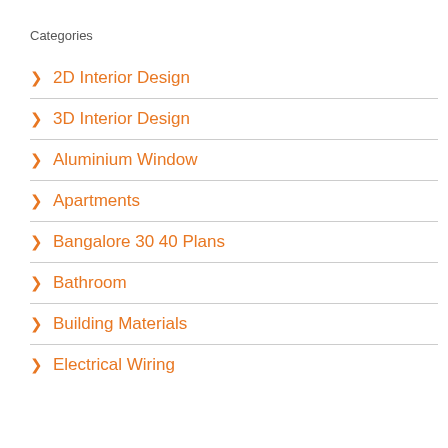Categories
> 2D Interior Design
> 3D Interior Design
> Aluminium Window
> Apartments
> Bangalore 30 40 Plans
> Bathroom
> Building Materials
> Electrical Wiring